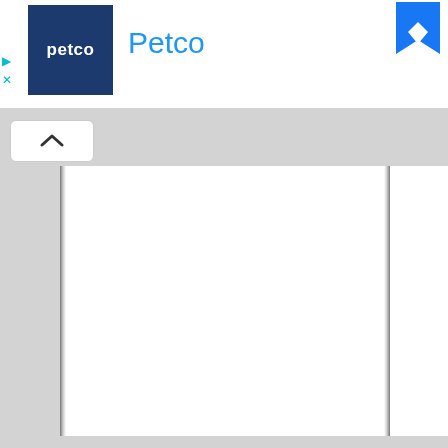[Figure (screenshot): Petco advertisement banner with dark blue Petco logo square and 'Petco' text in blue, with a Facebook blue chevron/bookmark icon on the right. Small cyan play and close (x) controls on the left side.]
[Figure (screenshot): White document page content area with left and right vertical shadow lines indicating a scrollable page. A collapse/up-arrow button visible at top left of content area.]